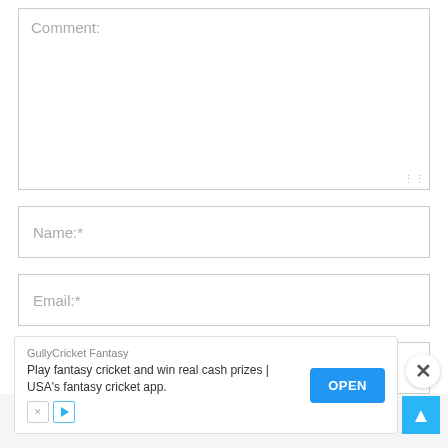Comment:
Name:*
Email:*
Website:
[Figure (screenshot): Advertisement banner for GullyCricket Fantasy app with OPEN button]
GullyCricket Fantasy - Play fantasy cricket and win real cash prizes | USA's fantasy cricket app. OPEN